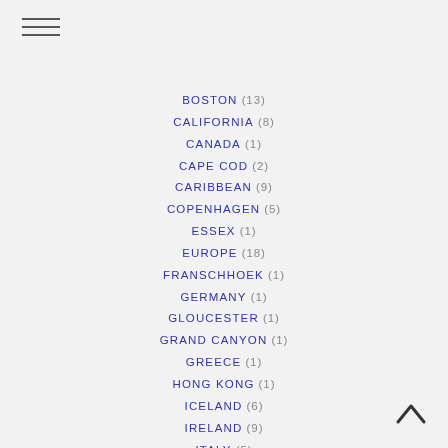[Figure (other): Hamburger menu icon with three horizontal lines]
BOSTON (13)
CALIFORNIA (8)
CANADA (1)
CAPE COD (2)
CARIBBEAN (9)
COPENHAGEN (5)
ESSEX (1)
EUROPE (18)
FRANSCHHOEK (1)
GERMANY (1)
GLOUCESTER (1)
GRAND CANYON (1)
GREECE (1)
HONG KONG (1)
ICELAND (6)
IRELAND (9)
ITALY (5)
JACKSON (2)
LONDON (4)
NEW YORK (4)
PARIS (3)
SOUTH AFRICA (11)